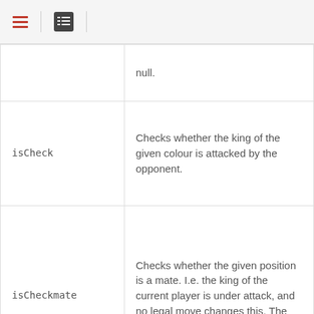Navigation header with hamburger menu and list view icon
| Method | Description |
| --- | --- |
|  | null. |
| isCheck | Checks whether the king of the given colour is attacked by the opponent. |
| isCheckmate | Checks whether the given position is a mate. I.e. the king of the current player is under attack, and no legal move changes this. The player to move has lost the game. |
|  | Checks whether the given position is a stalemate. I.e. |